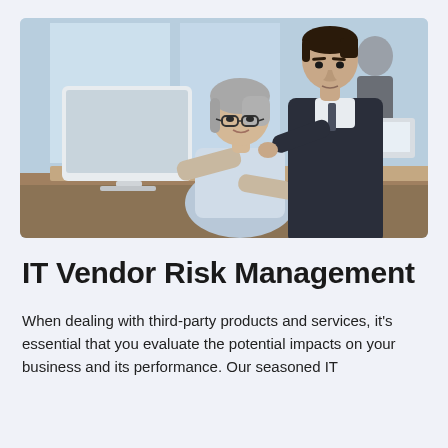[Figure (photo): Two business professionals — an older woman with grey hair and glasses sitting at a desktop computer, and a younger man in a dark suit leaning over to point at the screen — in an open office environment with other colleagues visible in the background.]
IT Vendor Risk Management
When dealing with third-party products and services, it's essential that you evaluate the potential impacts on your business and its performance. Our seasoned IT